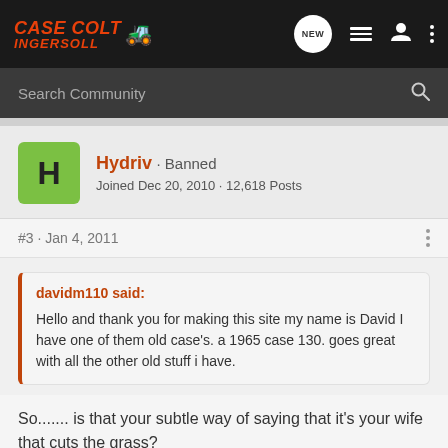Case Colt Ingersoll - Navigation bar with NEW, list, user, and menu icons
Search Community
Hydriv · Banned
Joined Dec 20, 2010 · 12,618 Posts
#3 · Jan 4, 2011
davidm110 said:
Hello and thank you for making this site my name is David I have one of them old case's. a 1965 case 130. goes great with all the other old stuff i have.
So....... is that your subtle way of saying that it's your wife that cuts the grass?
Welcome to the Starship, David.